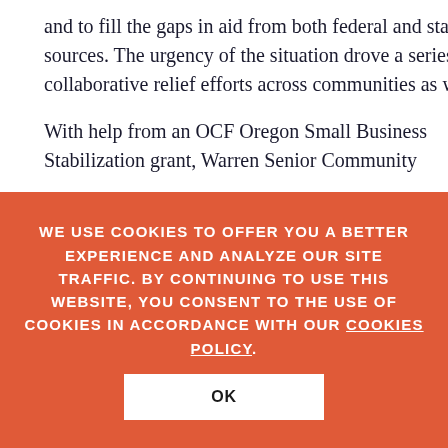and to fill the gaps in aid from both federal and state sources. The urgency of the situation drove a series of collaborative relief efforts across communities as well.
With help from an OCF Oregon Small Business Stabilization grant, Warren Senior Community...
WE USE COOKIES TO OFFER YOU A BETTER EXPERIENCE AND ANALYZE OUR SITE TRAFFIC. BY CONTINUING TO USE THIS WEBSITE, YOU CONSENT TO THE USE OF COOKIES IN ACCORDANCE WITH OUR COOKIES POLICY.
OK